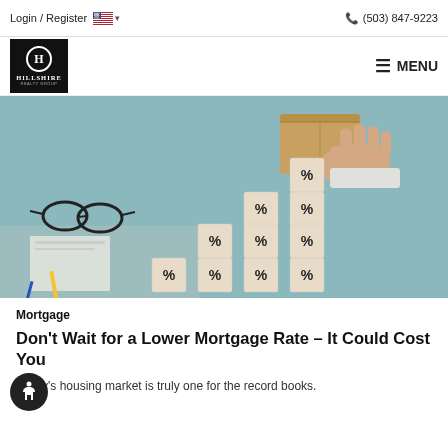Login / Register  (503) 847-9223
[Figure (logo): Hillshire Realty Group logo — black background with H in circle and company name]
[Figure (photo): Photo of staircase arrangement of wooden blocks with percent symbols stacked in ascending order, with a hand placing a wooden box on top, suggesting rising mortgage rates]
Mortgage
Don't Wait for a Lower Mortgage Rate – It Could Cost You
Today's housing market is truly one for the record books.